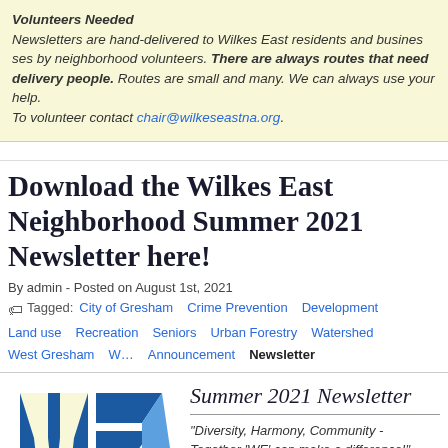Volunteers Needed
Newsletters are hand-delivered to Wilkes East residents and businesses by neighborhood volunteers. There are always routes that need delivery people. Routes are small and many. We can always use your help. To volunteer contact chair@wilkeseastna.org.
Download the Wilkes East Neighborhood Summer 2021 Newsletter here!
By admin - Posted on August 1st, 2021
Tagged: City of Gresham  Crime Prevention  Development  Land use  Recreation  Seniors  Urban Forestry  Watershed  West Gresham  W... Announcement  Newsletter
[Figure (logo): Wilkes East Neighborhood logo — large blue WE letters with arrow shapes]
Summer 2021 Newsletter
"Diversity, Harmony, Community - Together 'WE' can make a difference!"